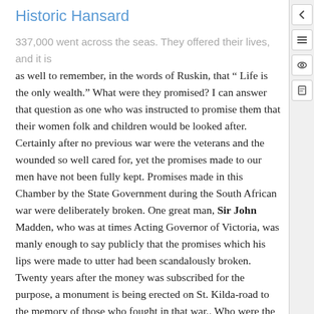Historic Hansard
337,000 went across the seas. They offered their lives, and it is as well to remember, in the words of Ruskin, that “ Life is the only wealth.” What were they promised? I can answer that question as one who was instructed to promise them that their women folk and children would be looked after. Certainly after no previous war were the veterans and the wounded so well cared for, yet the promises made to our men have not been fully kept. Promises made in this Chamber by the State Government during the South African war were deliberately broken. One great man, Sir John Madden, who was at times Acting Governor of Victoria, was manly enough to say publicly that the promises which his lips were made to utter had been scandalously broken. Twenty years after the money was subscribed for the purpose, a monument is being erected on St. Kilda-road to the memory of those who fought in that war.. Who were the members of the Committee which was concerned in that matter ? They were the swells of Melbourne, and it is they who have held the money